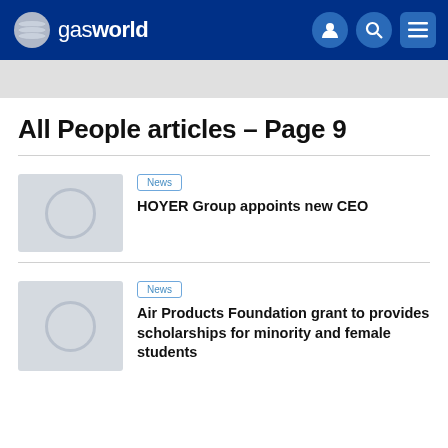gasworld
All People articles – Page 9
[Figure (screenshot): Placeholder thumbnail image with circle icon for HOYER Group article]
News
HOYER Group appoints new CEO
[Figure (screenshot): Placeholder thumbnail image with circle icon for Air Products Foundation article]
News
Air Products Foundation grant to provides scholarships for minority and female students